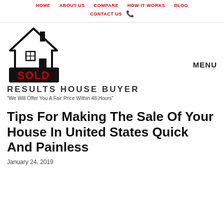HOME   ABOUT US   COMPARE   HOW IT WORKS   BLOG   CONTACT US
[Figure (logo): House outline with SOLD sign below it — Results House Buyer logo]
MENU
RESULTS HOUSE BUYER
"We Will Offer You A Fair Price Within 48 Hours"
Tips For Making The Sale Of Your House In United States Quick And Painless
January 24, 2019